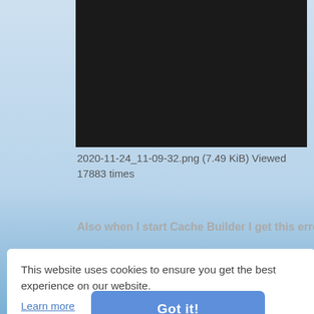[Figure (screenshot): Black rectangle representing a screenshot/image preview in a forum or file listing.]
2020-11-24_11-09-32.png (7.49 KiB) Viewed 17883 times
Also when I start Cache Builder I get this error
This website uses cookies to ensure you get the best experience on our website.
Learn more
[Figure (screenshot): Error dialog with red X icon and text: Error: Cannot Load PowerShellCore host]
Got it!
OK